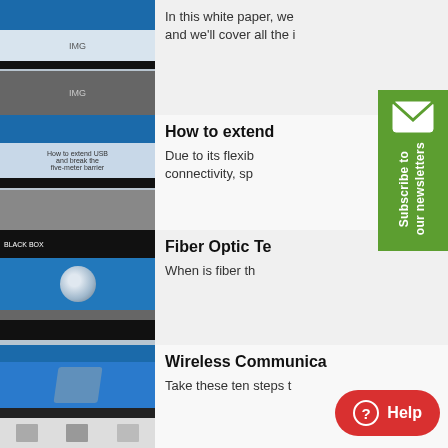[Figure (screenshot): Thumbnail image of a tech white paper document with blue header]
In this white paper, we and we'll cover all the i
[Figure (screenshot): Thumbnail of 'How to extend USB and break the five-meter barrier' document]
How to extend
Due to its flexib connectivity, sp
[Figure (screenshot): Thumbnail of Fiber Optic Technology document with globe image]
Fiber Optic Te
When is fiber th
[Figure (screenshot): Thumbnail of '5 Questions You Need to Ask' document]
5 Questions you nee
Whether you want to s setting, or to connect n
[Figure (screenshot): Thumbnail of Wireless Communications document]
Wireless Communica
Take these ten steps t
[Figure (screenshot): Thumbnail of Physical Layer document]
Physi se